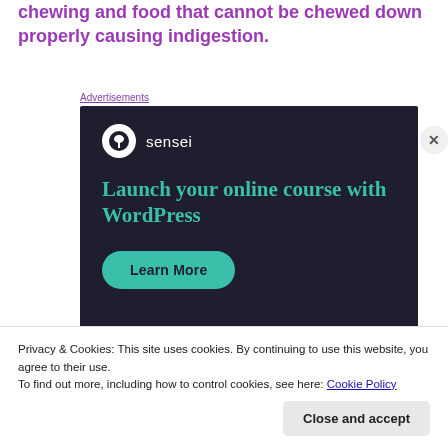chewing and food that cannot be chewed down properly causing indigestion.
Advertisements
[Figure (other): Sensei advertisement banner on dark background. Shows Sensei logo (tree icon in white circle), brand name 'sensei', headline 'Launch your online course with WordPress', and a teal 'Learn More' button.]
Privacy & Cookies: This site uses cookies. By continuing to use this website, you agree to their use.
To find out more, including how to control cookies, see here: Cookie Policy
Close and accept